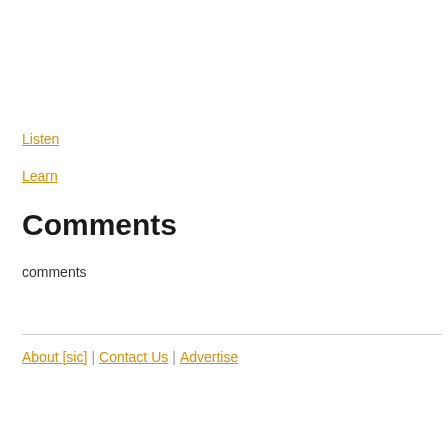Listen
Learn
Comments
comments
About [sic] | Contact Us | Advertise